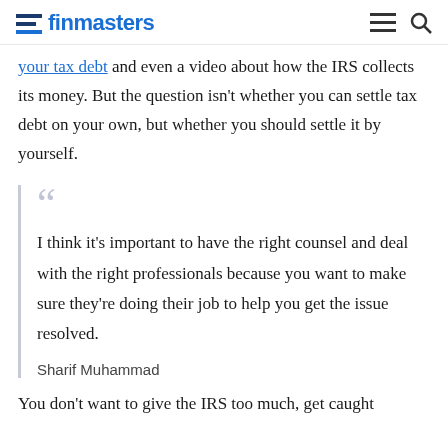finmasters
your tax debt and even a video about how the IRS collects its money. But the question isn't whether you can settle tax debt on your own, but whether you should settle it by yourself.
I think it's important to have the right counsel and deal with the right professionals because you want to make sure they're doing their job to help you get the issue resolved.

Sharif Muhammad
You don't want to give the IRS too much, get caught